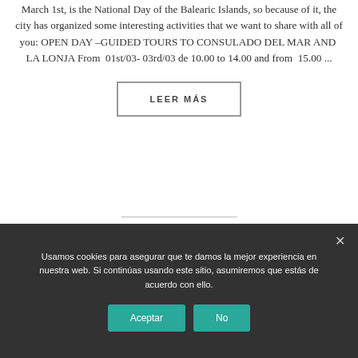March 1st, is the National Day of the Balearic Islands, so because of it, the city has organized some interesting activities that we want to share with all of you: OPEN DAY –GUIDED TOURS TO CONSULADO DEL MAR AND  LA LONJA From  01st/03- 03rd/03 de 10.00 to 14.00 and from  15.00 ...
LEER MÁS
Usamos cookies para asegurar que te damos la mejor experiencia en nuestra web. Si continúas usando este sitio, asumiremos que estás de acuerdo con ello.
Aceptar
No